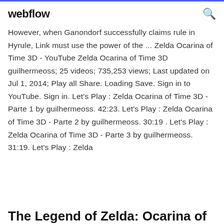webflow
However, when Ganondorf successfully claims rule in Hyrule, Link must use the power of the ... Zelda Ocarina of Time 3D - YouTube Zelda Ocarina of Time 3D guilhermeoss; 25 videos; 735,253 views; Last updated on Jul 1, 2014; Play all Share. Loading Save. Sign in to YouTube. Sign in. Let's Play : Zelda Ocarina of Time 3D - Parte 1 by guilhermeoss. 42:23. Let's Play : Zelda Ocarina of Time 3D - Parte 2 by guilhermeoss. 30:19 . Let's Play : Zelda Ocarina of Time 3D - Parte 3 by guilhermeoss. 31:19. Let's Play : Zelda
The Legend of Zelda: Ocarina of